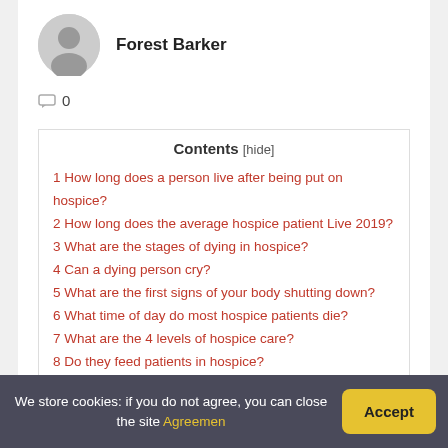Forest Barker
0
Contents [hide]
1 How long does a person live after being put on hospice?
2 How long does the average hospice patient Live 2019?
3 What are the stages of dying in hospice?
4 Can a dying person cry?
5 What are the first signs of your body shutting down?
6 What time of day do most hospice patients die?
7 What are the 4 levels of hospice care?
8 Do they feed patients in hospice?
9 What organ shuts down first?
10 What are the signs of last days of life?
We store cookies: if you do not agree, you can close the site Agreemen   Accept